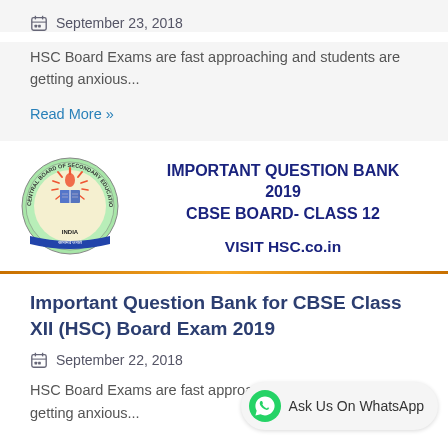September 23, 2018
HSC Board Exams are fast approaching and students are getting anxious...
Read More »
[Figure (logo): Central Board of Secondary Education (CBSE) India circular seal logo with open book and sun rays]
IMPORTANT QUESTION BANK 2019
CBSE BOARD- CLASS 12
VISIT HSC.co.in
Important Question Bank for CBSE Class XII (HSC) Board Exam 2019
September 22, 2018
HSC Board Exams are fast approaching and students are getting anxious...
Ask Us On WhatsApp